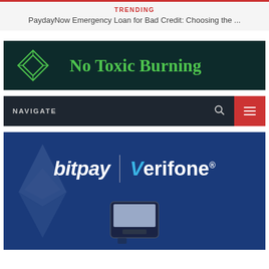TRENDING
PaydayNow Emergency Loan for Bad Credit: Choosing the ...
[Figure (logo): No Toxic Burning logo on dark teal background with diamond geometric symbol in green]
[Figure (screenshot): Website navigation bar with NAVIGATE label, search icon, and red hamburger menu button]
[Figure (photo): BitPay and Verifone partnership banner image on dark blue background with payment terminal]